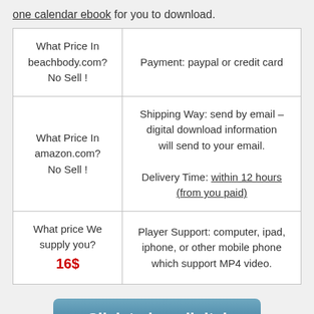one calendar ebook for you to download.
| What Price In beachbody.com? No Sell ! | Payment: paypal or credit card |
| What Price In amazon.com? No Sell ! | Shipping Way: send by email – digital download information will send to your email.

Delivery Time: within 12 hours (from you paid) |
| What price We supply you? 16$ | Player Support: computer, ipad, iphone, or other mobile phone which support MP4 video. |
Click to buy digital edition